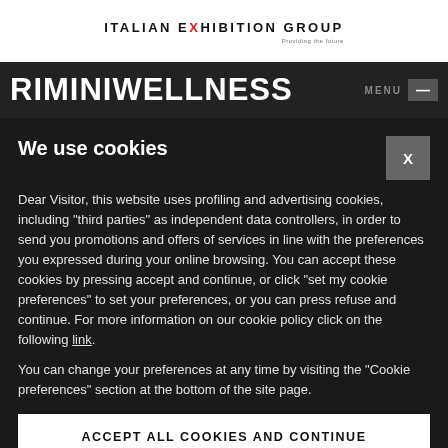ITALIAN EXHIBITION GROUP Providing the future
[Figure (logo): RiminiWellness logo on dark banner with MENU button]
We use cookies
Dear Visitor, this website uses profiling and advertising cookies, including "third parties" as independent data controllers, in order to send you promotions and offers of services in line with the preferences you expressed during your online browsing. You can accept these cookies by pressing accept and continue, or click "set my cookie preferences" to set your preferences, or you can press refuse and continue. For more information on our cookie policy click on the following link.
You can change your preferences at any time by visiting the "Cookie preferences" section at the bottom of the site page.
ACCEPT ALL COOKIES AND CONTINUE